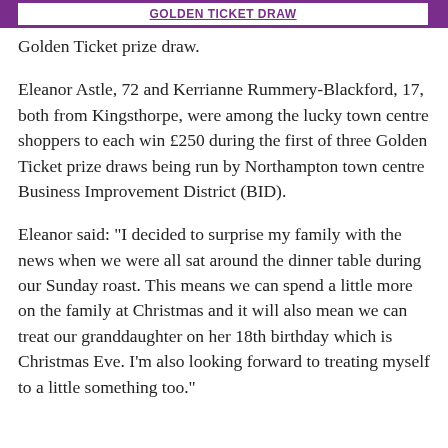GOLDEN TICKET DRAW
Golden Ticket prize draw.
Eleanor Astle, 72 and Kerrianne Rummery-Blackford, 17, both from Kingsthorpe, were among the lucky town centre shoppers to each win £250 during the first of three Golden Ticket prize draws being run by Northampton town centre Business Improvement District (BID).
Eleanor said: “I decided to surprise my family with the news when we were all sat around the dinner table during our Sunday roast. This means we can spend a little more on the family at Christmas and it will also mean we can treat our granddaughter on her 18th birthday which is Christmas Eve. I’m also looking forward to treating myself to a little something too.”